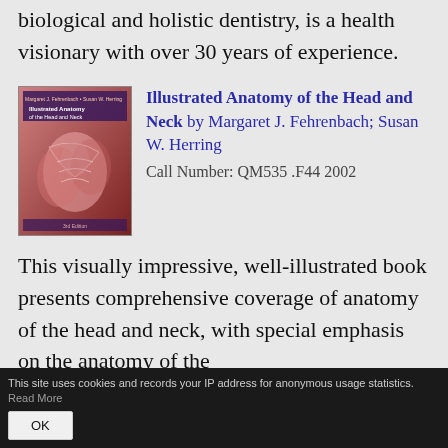biological and holistic dentistry, is a health visionary with over 30 years of experience.
[Figure (illustration): Book cover of Illustrated Anatomy of the Head and Neck, showing anatomical illustrations in red/pink tones on a dark background]
Illustrated Anatomy of the Head and Neck by Margaret J. Fehrenbach; Susan W. Herring
Call Number: QM535 .F44 2002
This visually impressive, well-illustrated book presents comprehensive coverage of anatomy of the head and neck, with special emphasis on the anatomy of the
This site uses cookies and records your IP address for anonymous usage statistics. Read More  OK